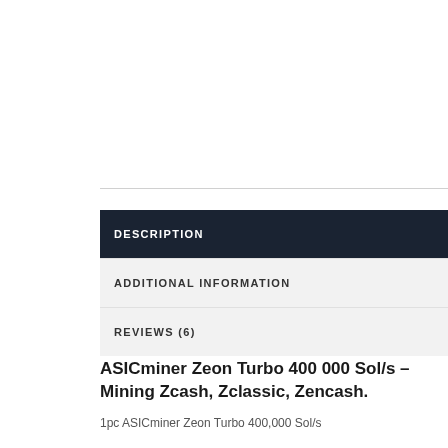DESCRIPTION
ADDITIONAL INFORMATION
REVIEWS (6)
ASICminer Zeon Turbo 400 000 Sol/s – Mining Zcash, Zclassic, Zencash.
1pc ASICminer Zeon Turbo 400,000 Sol/s